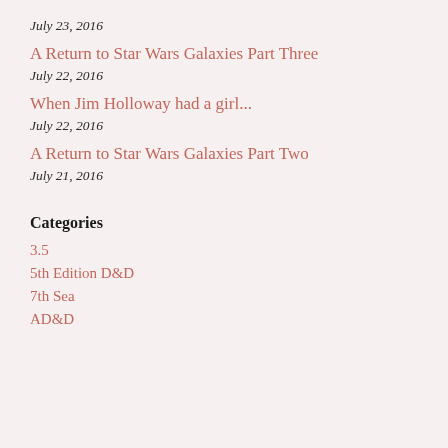July 23, 2016
A Return to Star Wars Galaxies Part Three
July 22, 2016
When Jim Holloway had a girl...
July 22, 2016
A Return to Star Wars Galaxies Part Two
July 21, 2016
Categories
3.5
5th Edition D&D
7th Sea
AD&D